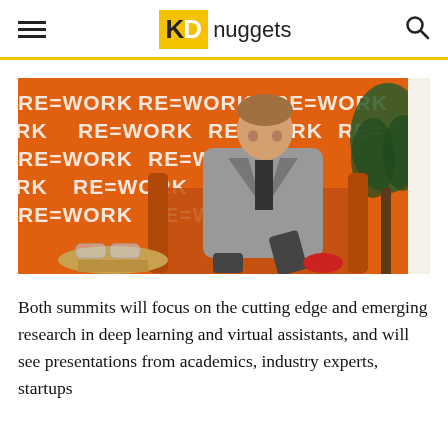KDnuggets
[Figure (photo): A man in a suit jacket sitting in an orange chair at a RE=WORK conference event, smiling, with an orange branded backdrop and a plant behind him.]
Both summits will focus on the cutting edge and emerging research in deep learning and virtual assistants, and will see presentations from academics, industry experts, startups